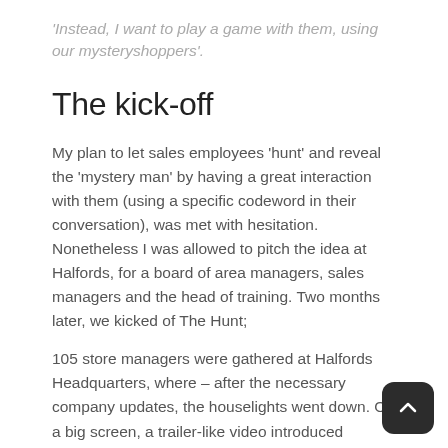'Instead, I want to play a game with them, using our mysteryshoppers'.
The kick-off
My plan to let sales employees 'hunt' and reveal the 'mystery man' by having a great interaction with them (using a specific codeword in their conversation),  was met with hesitation. Nonetheless I was allowed to pitch the idea at Halfords, for a board of area managers, sales managers and the head of training. Two months later, we kicked of The Hunt;
105 store managers were gathered at Halfords Headquarters, where – after the necessary company updates, the houselights went down. On a big screen, a trailer-like video  introduced